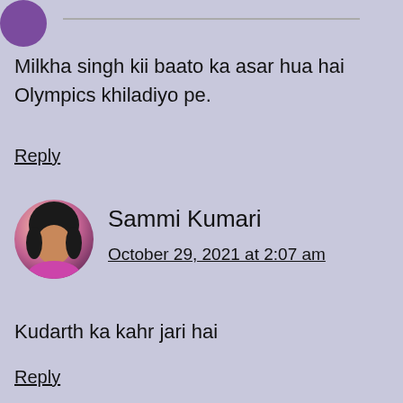Milkha singh kii baato ka asar hua hai Olympics khiladiyo pe.
Reply
Sammi Kumari
October 29, 2021 at 2:07 am
Kudarth ka kahr jari hai
Reply